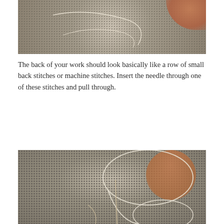[Figure (photo): Close-up photo of white mesh/net fabric with thread and skin visible, showing the back side of needlework stitches.]
The back of your work should look basically like a row of small back stitches or machine stitches. Insert the needle through one of these stitches and pull through.
[Figure (photo): Close-up photo of white mesh/net fabric with needle and thread visible being inserted through a stitch, with fingers visible in background, demonstrating the technique described.]